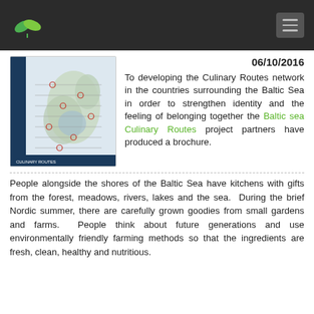Baltic Sea Culinary Routes – header navigation
[Figure (map): Map of Baltic Sea region showing culinary routes network with pins and lines connecting countries around the Baltic Sea.]
06/10/2016 To developing the Culinary Routes network in the countries surrounding the Baltic Sea in order to strengthen identity and the feeling of belonging together the Baltic sea Culinary Routes project partners have produced a brochure.
People alongside the shores of the Baltic Sea have kitchens with gifts from the forest, meadows, rivers, lakes and the sea.  During the brief Nordic summer, there are carefully grown goodies from small gardens and farms.  People think about future generations and use environmentally friendly farming methods so that the ingredients are fresh, clean, healthy and nutritious.